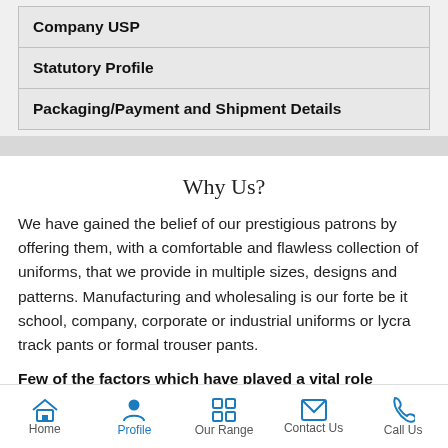| Company USP |
| Statutory Profile |
| Packaging/Payment and Shipment Details |
Why Us?
We have gained the belief of our prestigious patrons by offering them, with a comfortable and flawless collection of uniforms, that we provide in multiple sizes, designs and patterns. Manufacturing and wholesaling is our forte be it school, company, corporate or industrial uniforms or lycra track pants or formal trouser pants.
Few of the factors which have played a vital role towards the…
Home | Profile | Our Range | Contact Us | Call Us